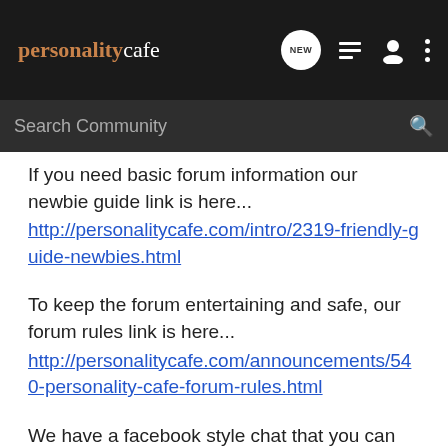personality cafe — NEW [nav icons]
Search Community
If you need basic forum information our newbie guide link is here...
http://personalitycafe.com/intro/2319-friendly-guide-newbies.html
To keep the forum entertaining and safe, our forum rules link is here...
http://personalitycafe.com/announcements/540-personality-cafe-forum-rules.html
We have a facebook style chat that you can enable throughout the site... Just read on how to enable it here...
http://personalitycafe.com/support-suggestions/13046-